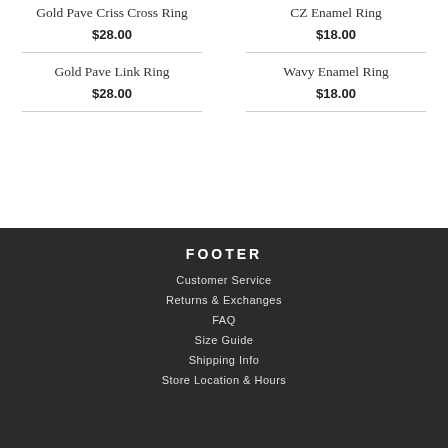Gold Pave Criss Cross Ring
$28.00
CZ Enamel Ring
$18.00
Gold Pave Link Ring
$28.00
Wavy Enamel Ring
$18.00
FOOTER
Customer Service
Returns & Exchanges
FAQ
Size Guide
Shipping Info
Store Location & Hours